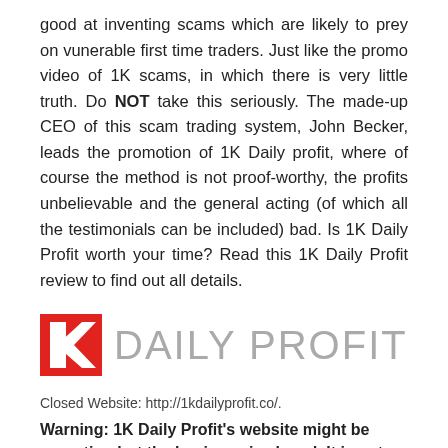good at inventing scams which are likely to prey on vunerable first time traders. Just like the promo video of 1K scams, in which there is very little truth. Do NOT take this seriously. The made-up CEO of this scam trading system, John Becker, leads the promotion of 1K Daily profit, where of course the method is not proof-worthy, the profits unbelievable and the general acting (of which all the testimonials can be included) bad. Is 1K Daily Profit worth your time? Read this 1K Daily Profit review to find out all details.
[Figure (logo): 1K Daily Profit logo: red angular K icon followed by DAILY PROFIT in large grey uppercase sans-serif letters]
Closed Website: http://1kdailyprofit.co/.
Warning: 1K Daily Profit's website might be operating but the business is closed. It is not